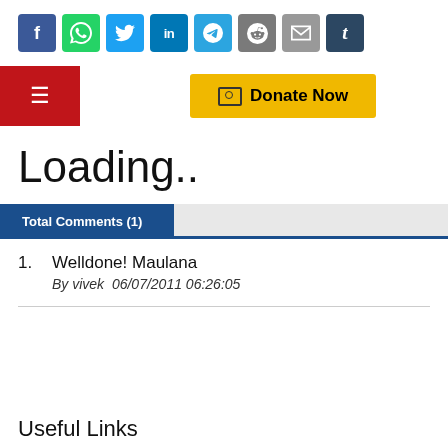[Figure (screenshot): Social media share icons: Facebook, WhatsApp, Twitter, LinkedIn, Telegram, Reddit, Email, Tumblr]
[Figure (screenshot): Red hamburger menu button and yellow Donate Now button]
Loading..
Total Comments (1)
Welldone! Maulana
By vivek  06/07/2011 06:26:05
Useful Links